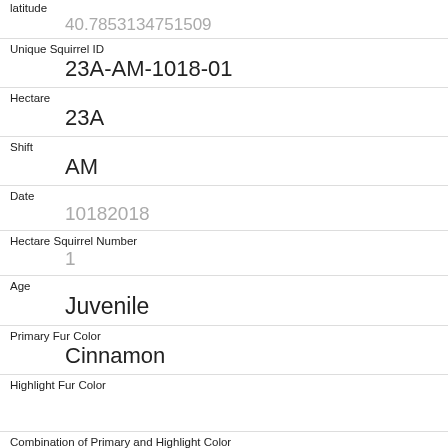| Field | Value |
| --- | --- |
| latitude | 40.7853134751509 |
| Unique Squirrel ID | 23A-AM-1018-01 |
| Hectare | 23A |
| Shift | AM |
| Date | 10182018 |
| Hectare Squirrel Number | 1 |
| Age | Juvenile |
| Primary Fur Color | Cinnamon |
| Highlight Fur Color |  |
| Combination of Primary and Highlight Color | Cinnamon+ |